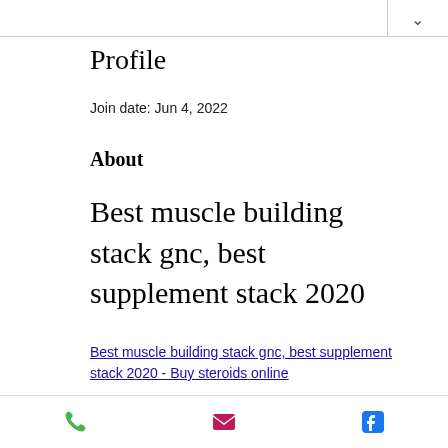Profile
Join date: Jun 4, 2022
About
Best muscle building stack gnc, best supplement stack 2020
Best muscle building stack gnc, best supplement stack 2020 - Buy steroids online
[Figure (photo): Blurred dark image, partially visible at bottom of content area]
Phone | Email | Facebook icons